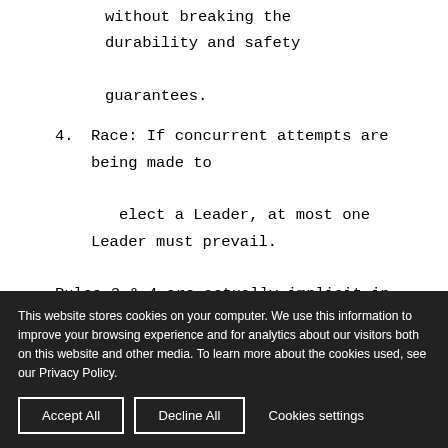without breaking the durability and safety guarantees.
4. Race: If concurrent attempts are being made to elect a Leader, at most one Leader must prevail.
Rules 3 & 4 are actually implicit in rule number 2. But these properties are so important that it’s worth making them explicit.
These rules are intentionally generic to allow for
This website stores cookies on your computer. We use this information to improve your browsing experience and for analytics about our visitors both on this website and other media. To learn more about the cookies used, see our Privacy Policy.
Accept All   Decline All   Cookies settings